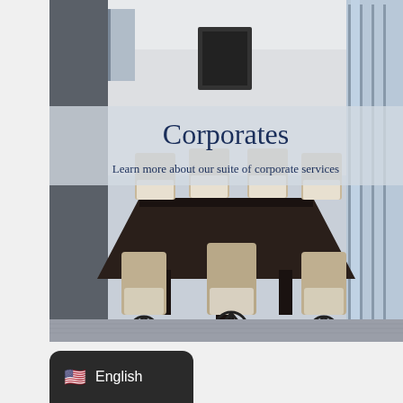[Figure (photo): A modern conference room with a long dark rectangular table surrounded by beige/tan office chairs with white upholstery, viewed from the head of the table. Floor-to-ceiling windows on the right side let in natural light. The room has grey carpeted flooring and white walls.]
Corporates
Learn more about our suite of corporate services
🇺🇸 English